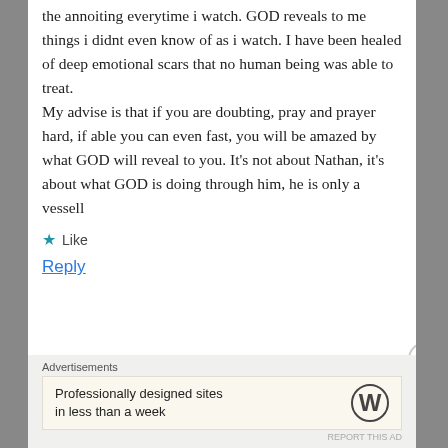the annoiting everytime i watch. GOD reveals to me things i didnt even know of as i watch. I have been healed of deep emotional scars that no human being was able to treat.
My advise is that if you are doubting, pray and prayer hard, if able you can even fast, you will be amazed by what GOD will reveal to you. It's not about Nathan, it's about what GOD is doing through him, he is only a vessell
★ Like
Reply
Advertisements
Professionally designed sites in less than a week